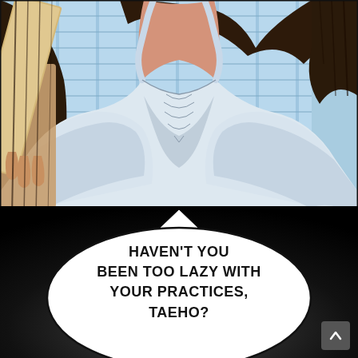[Figure (illustration): Manga/webtoon panel showing close-up of a woman's torso wearing a white sleeveless top/camisole with thin straps. She has long dark hair and is holding what appears to be a clipboard or board. Background shows blue window blinds. Art style is Korean webtoon.]
HAVEN'T YOU BEEN TOO LAZY WITH YOUR PRACTICES, TAEHO?